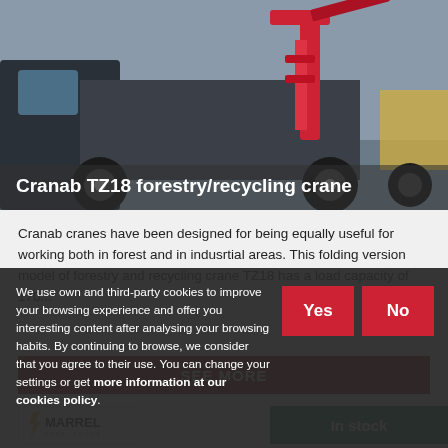[Figure (photo): Photo of a Cranab TZ18 forestry/recycling crane mounted on a truck, shown in an industrial setting]
Cranab TZ18 forestry/recycling crane
Cranab cranes have been designed for being equally useful for working both in forest and in indusrtial areas. This folding version model of forestry and recycling crane TZ18 has a load capacity of 170...
SEE MORE
[Figure (logo): Marrel Fassi Group logo]
In stock
We use own and third-party cookies to improve your browsing experience and offer you interesting content after analysing your browsing habits. By continuing to browse, we consider that you agree to their use. You can change your settings or get more information at our cookies policy.